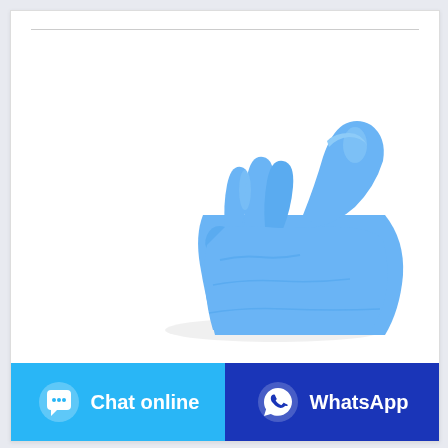[Figure (photo): A blue nitrile/latex disposable glove on a hand giving a thumbs-up gesture, photographed against a white background.]
Round Knitting Loom
Chat online
WhatsApp